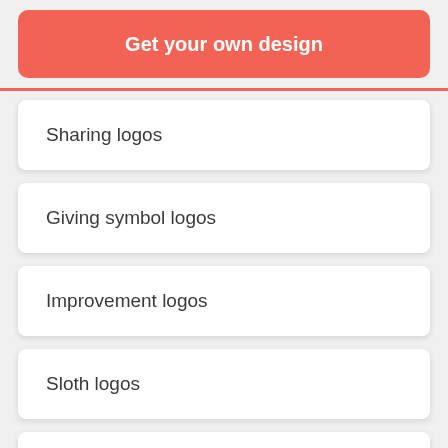Get your own design
Sharing logos
Giving symbol logos
Improvement logos
Sloth logos
Mw logos